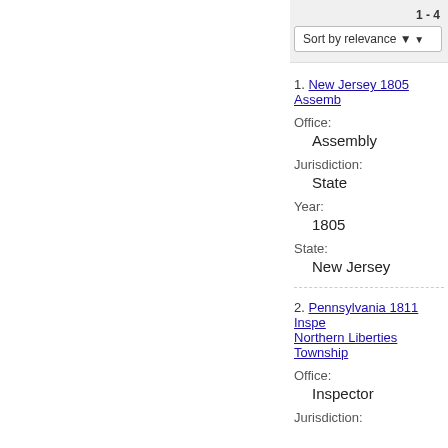1 - 4
Sort by relevance
1. New Jersey 1805 Assemb...
Office:
Assembly
Jurisdiction:
State
Year:
1805
State:
New Jersey
2. Pennsylvania 1811 Inspe... Northern Liberties Township
Office:
Inspector
Jurisdiction: